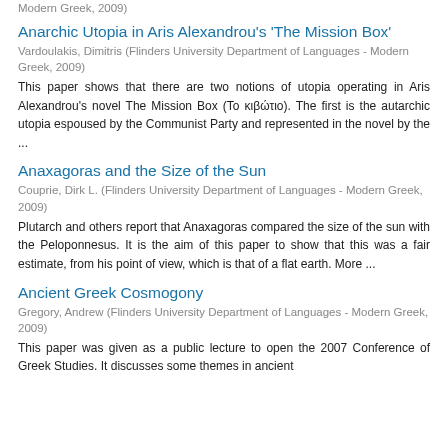Modern Greek, 2009)
Anarchic Utopia in Aris Alexandrou's 'The Mission Box'
Vardoulakis, Dimitris (Flinders University Department of Languages - Modern Greek, 2009)
This paper shows that there are two notions of utopia operating in Aris Alexandrou's novel The Mission Box (Το κιβώτιο). The first is the autarchic utopia espoused by the Communist Party and represented in the novel by the ...
Anaxagoras and the Size of the Sun
Couprie, Dirk L. (Flinders University Department of Languages - Modern Greek, 2009)
Plutarch and others report that Anaxagoras compared the size of the sun with the Peloponnesus. It is the aim of this paper to show that this was a fair estimate, from his point of view, which is that of a flat earth. More ...
Ancient Greek Cosmogony
Gregory, Andrew (Flinders University Department of Languages - Modern Greek, 2009)
This paper was given as a public lecture to open the 2007 Conference of Greek Studies. It discusses some themes in ancient